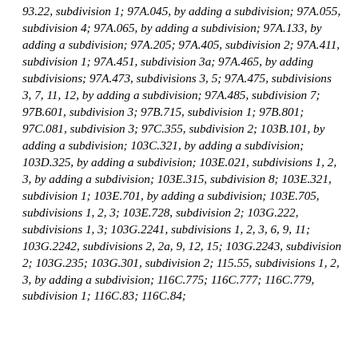93.22, subdivision 1; 97A.045, by adding a subdivision; 97A.055, subdivision 4; 97A.065, by adding a subdivision; 97A.133, by adding a subdivision; 97A.205; 97A.405, subdivision 2; 97A.411, subdivision 1; 97A.451, subdivision 3a; 97A.465, by adding subdivisions; 97A.473, subdivisions 3, 5; 97A.475, subdivisions 3, 7, 11, 12, by adding a subdivision; 97A.485, subdivision 7; 97B.601, subdivision 3; 97B.715, subdivision 1; 97B.801; 97C.081, subdivision 3; 97C.355, subdivision 2; 103B.101, by adding a subdivision; 103C.321, by adding a subdivision; 103D.325, by adding a subdivision; 103E.021, subdivisions 1, 2, 3, by adding a subdivision; 103E.315, subdivision 8; 103E.321, subdivision 1; 103E.701, by adding a subdivision; 103E.705, subdivisions 1, 2, 3; 103E.728, subdivision 2; 103G.222, subdivisions 1, 3; 103G.2241, subdivisions 1, 2, 3, 6, 9, 11; 103G.2242, subdivisions 2, 2a, 9, 12, 15; 103G.2243, subdivision 2; 103G.235; 103G.301, subdivision 2; 115.55, subdivisions 1, 2, 3, by adding a subdivision; 116C.775; 116C.777; 116C.779, subdivision 1; 116C.83; 116C.84;